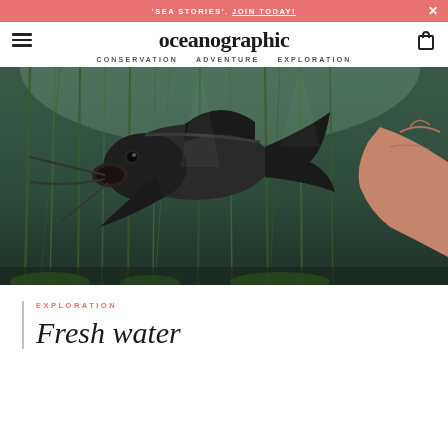'SEA STORIES'. JOIN TODAY!
[Figure (logo): Oceanographic magazine logo and navigation bar with hamburger menu, logo text 'oceanographic', bag icon, and nav links: CONSERVATION, ADVENTURE, EXPLORATION]
[Figure (photo): Underwater photo of a large dark-colored fish (possibly a catfish or freshwater ray) swimming among aquatic plants/reeds in murky greenish water, with a human hand visible on the right edge]
EXPLORATION
Fresh water